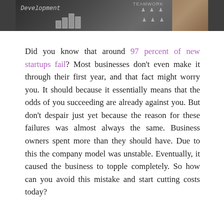[Figure (photo): Chalkboard photo showing 'Development' text with bar chart drawings and stick figures representing teamwork, with a hand writing on the board in the background.]
Did you know that around 97 percent of new startups fail? Most businesses don't even make it through their first year, and that fact might worry you. It should because it essentially means that the odds of you succeeding are already against you. But don't despair just yet because the reason for these failures was almost always the same. Business owners spent more than they should have. Due to this the company model was unstable. Eventually, it caused the business to topple completely. So how can you avoid this mistake and start cutting costs today?